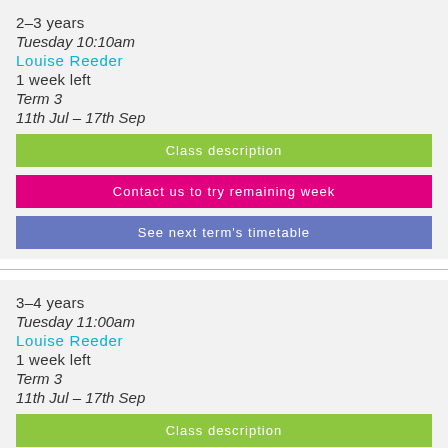2–3 years
Tuesday 10:10am
Louise Reeder
1 week left
Term 3
11th Jul – 17th Sep
Class description
Contact us to try remaining week
See next term's timetable
3–4 years
Tuesday 11:00am
Louise Reeder
1 week left
Term 3
11th Jul – 17th Sep
Class description
Contact us to try remaining week